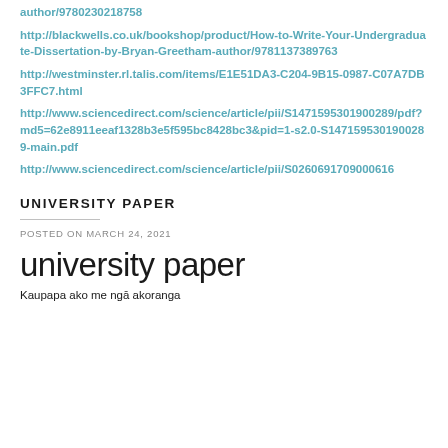author/9780230218758
http://blackwells.co.uk/bookshop/product/How-to-Write-Your-Undergraduate-Dissertation-by-Bryan-Greetham-author/9781137389763
http://westminster.rl.talis.com/items/E1E51DA3-C204-9B15-0987-C07A7DB3FFC7.html
http://www.sciencedirect.com/science/article/pii/S1471595301900289/pdf?md5=62e8911eeaf1328b3e5f595bc8428bc3&pid=1-s2.0-S1471595301900289-main.pdf
http://www.sciencedirect.com/science/article/pii/S0260691709000616
UNIVERSITY PAPER
POSTED ON MARCH 24, 2021
university paper
Kaupapa ako me ngā akoranga